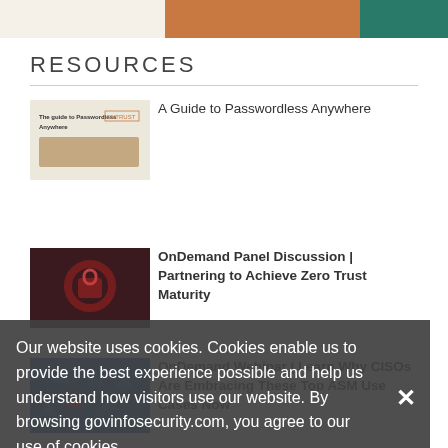[Figure (illustration): Top image strip with beige, orange-brown, and teal color sections]
RESOURCES
[Figure (screenshot): Thumbnail of 'The guide to Passwordless Anywhere' document cover]
A Guide to Passwordless Anywhere
[Figure (illustration): Dark red/maroon thumbnail with a lock icon for Zero Trust panel discussion]
OnDemand Panel Discussion | Partnering to Achieve Zero Trust Maturity
[Figure (illustration): Blue thumbnail with hexagon icons for ASM webinar]
OnDemand Webinar | Learn Why CISOs Are Embracing These Top ASM Use Cases Now
Our website uses cookies. Cookies enable us to provide the best experience possible and help us understand how visitors use our website. By browsing govinfosecurity.com, you agree to our use of cookies.